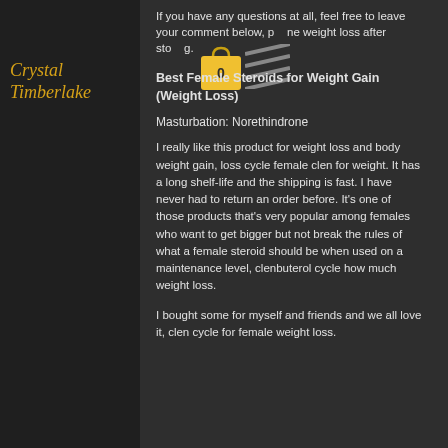Crystal Timberlake
If you have any questions at all, feel free to leave your comment below, phone weight loss after stopping.
Best Female Steroids for Weight Gain (Weight Loss)
Masturbation: Norethindrone
I really like this product for weight loss and body weight gain, loss cycle female clen for weight. It has a long shelf-life and the shipping is fast. I have never had to return an order before. It's one of those products that's very popular among females who want to get bigger but not break the rules of what a female steroid should be when used on a maintenance level, clenbuterol cycle how much weight loss.
I bought some for myself and friends and we all love it, clen cycle for female weight loss.